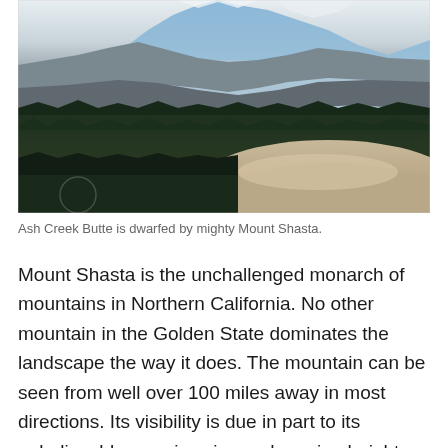[Figure (photo): Aerial/landscape photograph of Ash Creek Butte in the foreground with a large rocky dome and dense evergreen forest, dwarfed by the snow-capped peak of mighty Mount Shasta in the background under a hazy blue sky.]
Ash Creek Butte is dwarfed by mighty Mount Shasta.
Mount Shasta is the unchallenged monarch of mountains in Northern California. No other mountain in the Golden State dominates the landscape the way it does. The mountain can be seen from well over 100 miles away in most directions. Its visibility is due in part to its unbelievably massive size and soaring height. Mount Shasta can also be seen from great distances because it